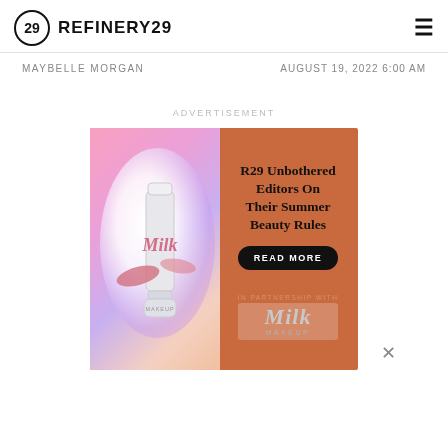REFINERY29
MAYBELLE MORGAN    AUGUST 19, 2022 6:00 AM
ADVERTISEMENT
[Figure (photo): Refinery29 advertisement banner for Milk Makeup. Orange background with a lip gloss tube product image on the left side in a glowing orb. Text on right: 'R29 Unbothered Editors On Their Summer Beauty Rules' with a black 'READ MORE' button and 'IN PARTNERSHIP WITH Milk Makeup' branding at the bottom.]